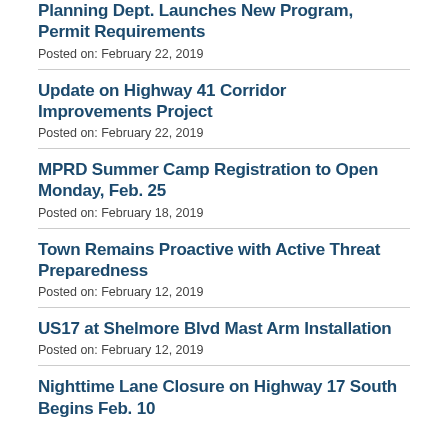Planning Dept. Launches New Program, Permit Requirements
Posted on: February 22, 2019
Update on Highway 41 Corridor Improvements Project
Posted on: February 22, 2019
MPRD Summer Camp Registration to Open Monday, Feb. 25
Posted on: February 18, 2019
Town Remains Proactive with Active Threat Preparedness
Posted on: February 12, 2019
US17 at Shelmore Blvd Mast Arm Installation
Posted on: February 12, 2019
Nighttime Lane Closure on Highway 17 South Begins Feb. 10